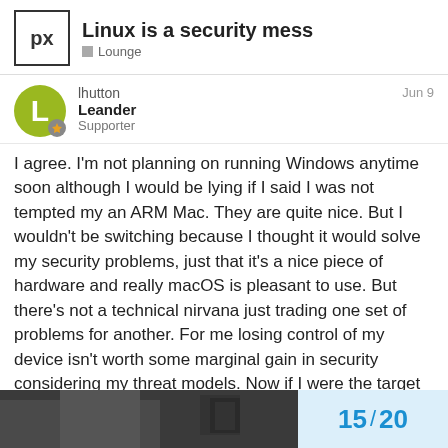Linux is a security mess — Lounge
lhutton
Leander
Supporter
Jun 9
I agree. I'm not planning on running Windows anytime soon although I would be lying if I said I was not tempted my an ARM Mac. They are quite nice. But I wouldn't be switching because I thought it would solve my security problems, just that it's a nice piece of hardware and really macOS is pleasant to use. But there's not a technical nirvana just trading one set of problems for another. For me losing control of my device isn't worth some marginal gain in security considering my threat models. Now if I were the target of some state sponsored things? Maybe. But at that point I'd just give up computers and send you all letters written on my beautiful IBM Selectric III.

Hey, now there's an idea! Analog pixls.us! Mail each other written forum posts and prints.
[Figure (photo): Partial photo preview at bottom of page, dark toned image]
15 / 20